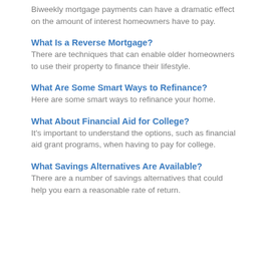Biweekly mortgage payments can have a dramatic effect on the amount of interest homeowners have to pay.
What Is a Reverse Mortgage?
There are techniques that can enable older homeowners to use their property to finance their lifestyle.
What Are Some Smart Ways to Refinance?
Here are some smart ways to refinance your home.
What About Financial Aid for College?
It's important to understand the options, such as financial aid grant programs, when having to pay for college.
What Savings Alternatives Are Available?
There are a number of savings alternatives that could help you earn a reasonable rate of return.